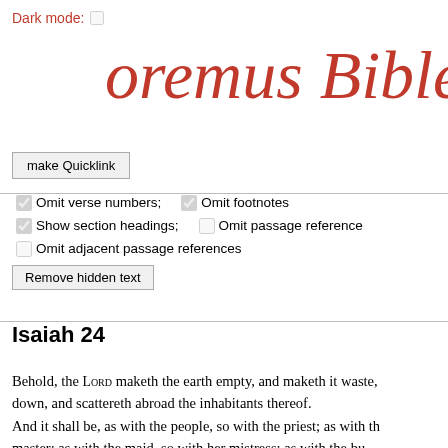Dark mode: ☐
oremus Bible Brow
make Quicklink
☑ Omit verse numbers;  ☑ Omit footnotes
☑ Show section headings;  ☐ Omit passage reference
☐ Omit adjacent passage references
Remove hidden text
Isaiah 24
Behold, the LORD maketh the earth empty, and maketh it waste, and turneth it upside down, and scattereth abroad the inhabitants thereof.
And it shall be, as with the people, so with the priest; as with the master; as with the maid, so with her mistress; as with the bu